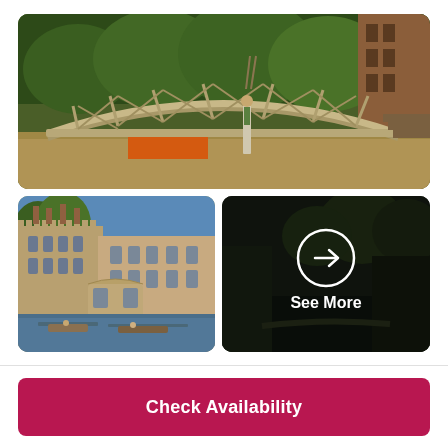[Figure (photo): Mathematical Bridge Cambridge punting scene with wooden arched bridge over river, lush green trees in background, brick building on right]
[Figure (photo): Bridge of Sighs Cambridge, Gothic stone buildings reflecting in river Cam, blue sky, punts on water]
[Figure (photo): Punting on River Cam Cambridge at dusk/night, dark overlay with 'See More' call-to-action and arrow circle button]
See More